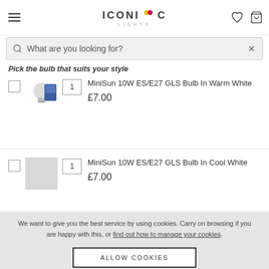ICONIC LIGHTS
What are you looking for?
Pick the bulb that suits your style
MiniSun 10W ES/E27 GLS Bulb In Warm White £7.00
MiniSun 10W ES/E27 GLS Bulb In Cool White £7.00
We want to give you the best service by using cookies. Carry on browsing if you are happy with this, or find out how to manage your cookies.
ALLOW COOKIES